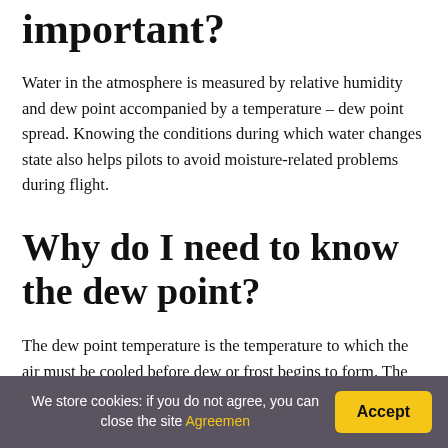important?
Water in the atmosphere is measured by relative humidity and dew point accompanied by a temperature – dew point spread. Knowing the conditions during which water changes state also helps pilots to avoid moisture-related problems during flight.
Why do I need to know the dew point?
The dew point temperature is the temperature to which the air must be cooled before dew or frost begins to form. The dew point temperature is also a measure of the amount of water vapor in the current air mass. Therefore, knowing the dew point gives an idea of how moist or dry the air is.
We store cookies: if you do not agree, you can close the site Agreemen